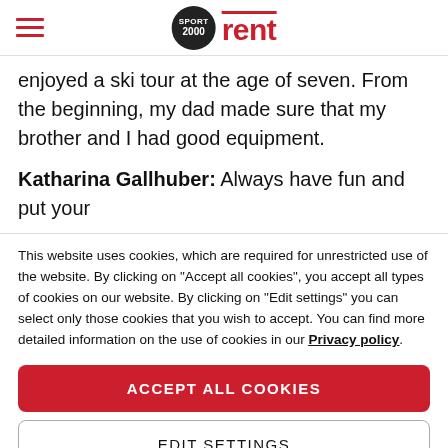Sport 2000 rent
enjoyed a ski tour at the age of seven. From the beginning, my dad made sure that my brother and I had good equipment.
Katharina Gallhuber: Always have fun and put your
This website uses cookies, which are required for unrestricted use of the website. By clicking on "Accept all cookies", you accept all types of cookies on our website. By clicking on "Edit settings" you can select only those cookies that you wish to accept. You can find more detailed information on the use of cookies in our Privacy policy.
ACCEPT ALL COOKIES
EDIT SETTINGS